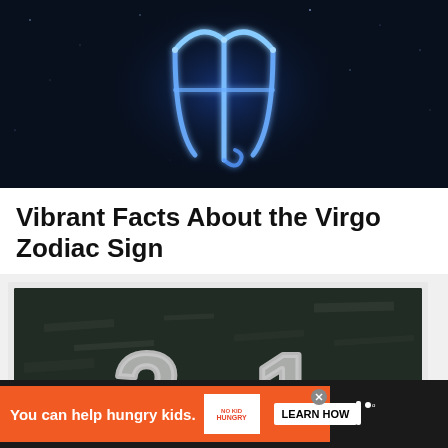[Figure (photo): Dark blue cosmic/space background with a glowing blue Virgo zodiac symbol (ψ-like shape) rendered in neon light effect]
Vibrant Facts About the Virgo Zodiac Sign
[Figure (photo): Chalkboard with large white chalked number '31' being written by a hand holding a piece of chalk]
You can help hungry kids.
NO KID HUNGRY
LEARN HOW